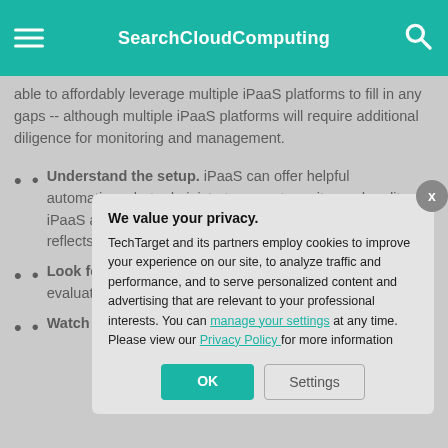SearchCloudComputing
able to affordably leverage multiple iPaaS platforms to fill in any gaps -- although multiple iPaaS platforms will require additional diligence for monitoring and management.
Understand the setup. iPaaS can offer helpful automations, but administrators must monitor and audit iPaaS activities to verify that data was integrated as... reflects billin... implement iP...
Look for op... environment... updates to a... reflect new c... evaluate all a... new plugins... iPaaS provid... or simplify w...
Watch for d... providers as... providers de... any third par...
[Figure (screenshot): Privacy consent modal overlay: 'We value your privacy.' with OK and Settings buttons]